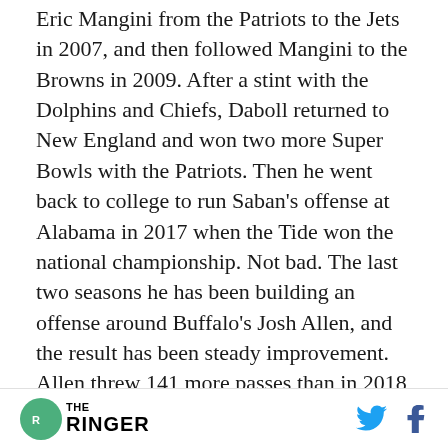Eric Mangini from the Patriots to the Jets in 2007, and then followed Mangini to the Browns in 2009. After a stint with the Dolphins and Chiefs, Daboll returned to New England and won two more Super Bowls with the Patriots. Then he went back to college to run Saban's offense at Alabama in 2017 when the Tide won the national championship. Not bad. The last two seasons he has been building an offense around Buffalo's Josh Allen, and the result has been steady improvement. Allen threw 141 more passes than in 2018 but had three fewer interceptions, while doubling his passing…
THE RINGER